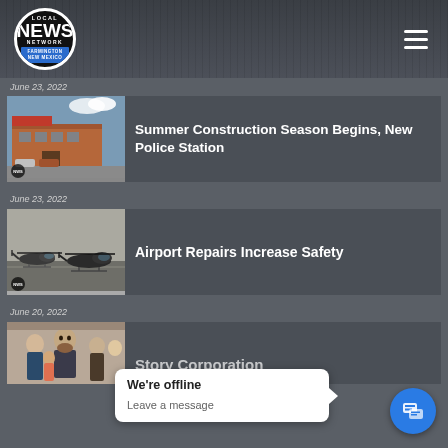[Figure (logo): Local News Network Farmington New Mexico logo - circular black and white logo with blue badge]
Local News Network - Farmington, New Mexico
June 23, 2022
[Figure (photo): Thumbnail of a building - police station]
Summer Construction Season Begins, New Police Station
June 23, 2022
[Figure (photo): Thumbnail of military helicopters on a tarmac]
Airport Repairs Increase Safety
June 20, 2022
[Figure (photo): Thumbnail of people in a group setting]
Story Corporation
We're offline
Leave a message